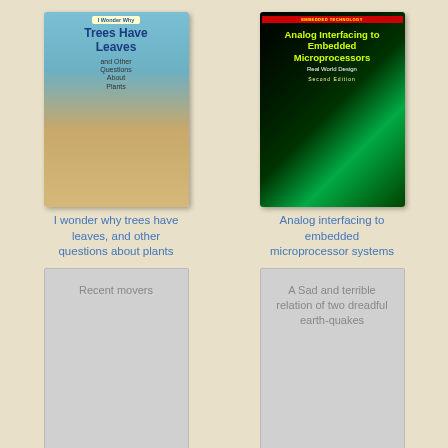[Figure (illustration): Book cover: I Wonder Why Trees Have Leaves and Other Questions About Plants — colorful children's book with tropical beach scene]
I wonder why trees have leaves, and other questions about plants
[Figure (illustration): Book cover: Analog Interfacing to Embedded Microprocessors Real World Design Second Edition — dark technical book cover with circuit imagery]
Analog interfacing to embedded microprocessor systems
[Figure (illustration): Placeholder book cover with text: Recent movers]
Recent movers
[Figure (illustration): Placeholder book cover with text: A Sad and terrible relation of two dreadful earth-quakes]
A Sad and terrible relation of two dreadful earth-quakes